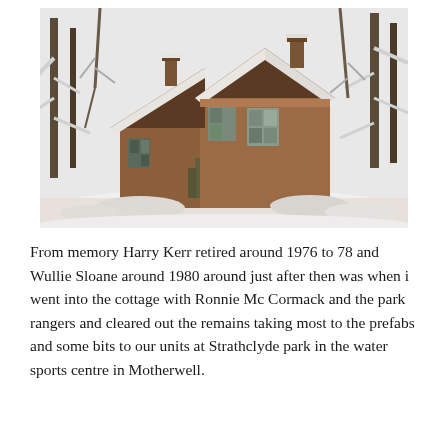[Figure (photo): A snow-covered abandoned red-brick cottage surrounded by bare winter trees with snow on branches and ground. The building appears old and dilapidated, with a peaked roofline and ornate stonework, set in a woodland scene.]
From memory Harry Kerr retired around 1976 to 78 and Wullie Sloane around 1980 around just after then was when i went into the cottage with Ronnie Mc Cormack and the park rangers and cleared out the remains taking most to the prefabs and some bits to our units at Strathclyde park in the water sports centre in Motherwell.